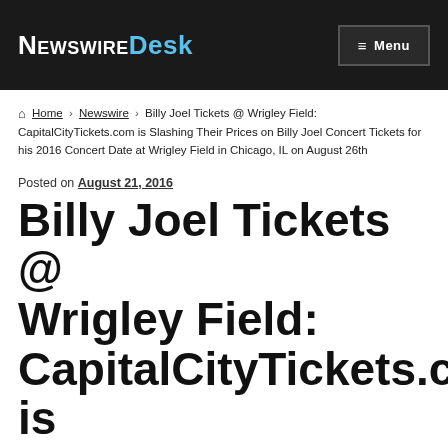NewswireDesk  Menu
Home › Newswire › Billy Joel Tickets @ Wrigley Field: CapitalCityTickets.com is Slashing Their Prices on Billy Joel Concert Tickets for his 2016 Concert Date at Wrigley Field in Chicago, IL on August 26th
Posted on August 21, 2016
Billy Joel Tickets @ Wrigley Field: CapitalCityTickets.com is